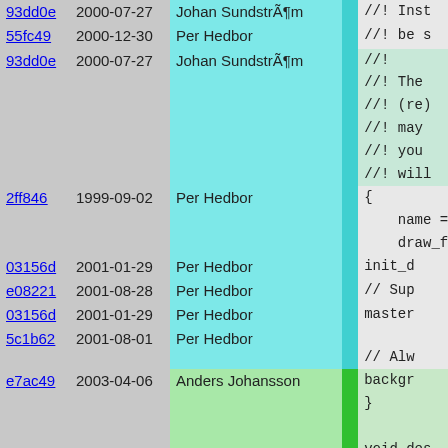| hash | date | author | bar | code |
| --- | --- | --- | --- | --- |
| 93dd0e | 2000-07-27 | Johan SundstrÃ¶m |  | //! Inst |
| 55fc49 | 2000-12-30 | Per Hedbor |  | //! be s |
| 93dd0e | 2000-07-27 | Johan SundstrÃ¶m |  | //!
//! The
//! (re)
//! may
//! you
//! will |
| 2ff846 | 1999-09-02 | Per Hedbor |  | {
    name =
    draw_f |
| 03156d | 2001-01-29 | Per Hedbor |  | init_d |
| e08221 | 2001-08-28 | Per Hedbor |  | // Sup |
| 03156d | 2001-01-29 | Per Hedbor |  | master |
| 5c1b62 | 2001-08-01 | Per Hedbor |  | // Alw |
| e7ac49 | 2003-04-06 | Anders Johansson |  | backgr
}

void des
{ |
| ff2cc9 | 2006-10-13 | Martin Stjernholm |  | if (mi |
| e7ac49 | 2003-04-06 | Anders Johansson |  | repo |